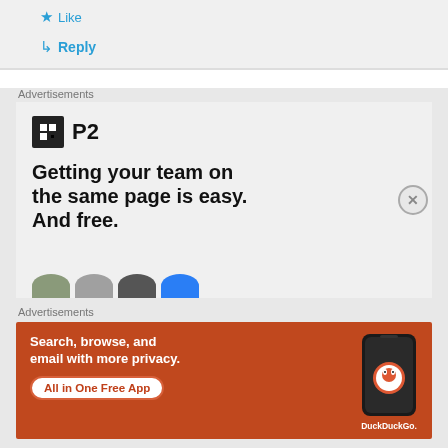★ Like
↳ Reply
Advertisements
[Figure (screenshot): P2 advertisement banner with logo showing square icon and 'P2' text, headline 'Getting your team on the same page is easy. And free.' with partial avatars at bottom]
Advertisements
[Figure (screenshot): DuckDuckGo advertisement on orange background: 'Search, browse, and email with more privacy. All in One Free App' with phone image and DuckDuckGo logo]